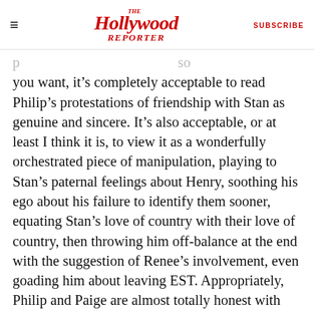The Hollywood Reporter | SUBSCRIBE
you want, it's completely acceptable to read Philip's protestations of friendship with Stan as genuine and sincere. It's also acceptable, or at least I think it is, to view it as a wonderfully orchestrated piece of manipulation, playing to Stan's paternal feelings about Henry, soothing his ego about his failure to identify them sooner, equating Stan's love of country with their love of country, then throwing him off-balance at the end with the suggestion of Renee's involvement, even goading him about leaving EST. Appropriately, Philip and Paige are almost totally honest with Stan, Elizabeth not so much. Stan wants to stop them, but he also wants: